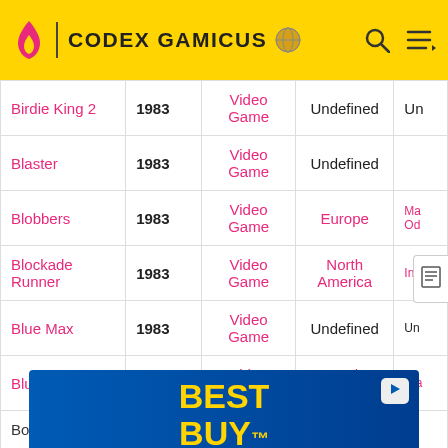CODEX GAMICUS
| Name | Year | Type | Region | ... |
| --- | --- | --- | --- | --- |
| Birdie King 2 | 1983 | Video Game | Undefined | Un... |
| Blaster | 1983 | Video Game | Undefined |  |
| Blobbers | 1983 | Video Game | Europe | Ma... Od... |
| Blockade Runner | 1983 | Video Game | North America | Inte... |
| Blue Max | 1983 | Video Game | Undefined | Un... |
| Blue Print | 1983 | Video Game | North America | Ata... |
| Boing | 1983 | Video... | North... |  |
| Bukosuka Wars | 1983 | Video Game | Japan | St... |
[Figure (other): Best Buy advertisement banner]